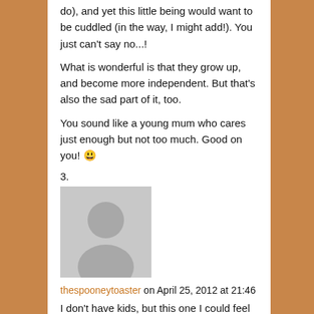do), and yet this little being would want to be cuddled (in the way, I might add!). You just can't say no...!
What is wonderful is that they grow up, and become more independent. But that's also the sad part of it, too.
You sound like a young mum who cares just enough but not too much. Good on you! 😁
3.
[Figure (photo): Default user avatar - grey silhouette of a person on light grey background]
thespooneytoaster on April 25, 2012 at 21:46
I don't have kids, but this one I could feel the warmth and the love flowing out of it. The closest I did have was an orange tabby and I would often push her away whenever I lay on my bed playing my